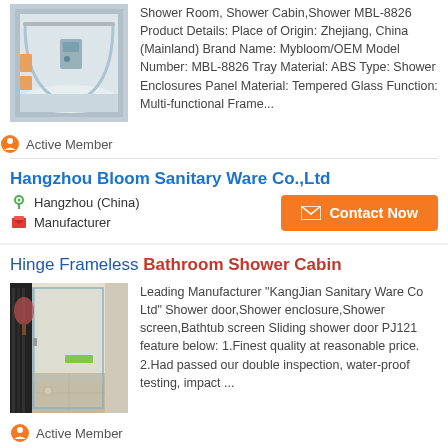[Figure (photo): Shower room/cabin product photo showing a corner shower enclosure with curved glass panels]
Shower Room, Shower Cabin,Shower MBL-8826 Product Details: Place of Origin: Zhejiang, China (Mainland) Brand Name: Mybloom/OEM Model Number: MBL-8826 Tray Material: ABS Type: Shower Enclosures Panel Material: Tempered Glass Function: Multi-functional Frame...
Active Member
Hangzhou Bloom Sanitary Ware Co.,Ltd
Hangzhou (China)
Manufacturer
Contact Now
Hinge Frameless Bathroom Shower Cabin
[Figure (photo): Frameless glass shower cabin/enclosure photo showing hinged glass panels in a bathroom setting]
Leading Manufacturer "KangJian Sanitary Ware Co Ltd" Shower door,Shower enclosure,Shower screen,Bathtub screen Sliding shower door PJ121 feature below: 1.Finest quality at reasonable price. 2.Had passed our double inspection, water-proof testing, impact ...
Active Member